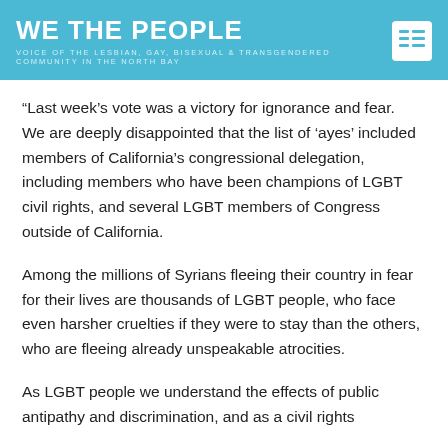WE THE PEOPLE
VOICE OF THE LESBIAN, GAY, BISEXUAL & TRANSGENDERED COMMUNITY IN THE NORTH BAY
“Last week’s vote was a victory for ignorance and fear.  We are deeply disappointed that the list of ‘ayes’ included members of California’s congressional delegation, including members who have been champions of LGBT civil rights, and several LGBT members of Congress outside of California.
Among the millions of Syrians fleeing their country in fear for their lives are thousands of LGBT people, who face even harsher cruelties if they were to stay than the others, who are fleeing already unspeakable atrocities.
As LGBT people we understand the effects of public antipathy and discrimination, and as a civil rights